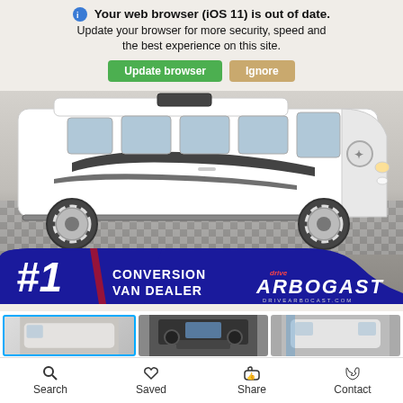[Figure (screenshot): Browser update banner overlay: 'Your web browser (iOS 11) is out of date. Update your browser for more security, speed and the best experience on this site.' with green 'Update browser' and tan 'Ignore' buttons.]
[Figure (photo): Main photo of a white Mercedes-Benz Sprinter conversion van on a checkered floor, with a blue/red dealer badge overlay reading '#1 CONVERSION VAN DEALER' and 'ARBOGAST' logo.]
[Figure (photo): Three thumbnail images below main photo: exterior side view, interior dashboard/cockpit view, and exterior rear view of the conversion van.]
Search   Saved   Share   Contact